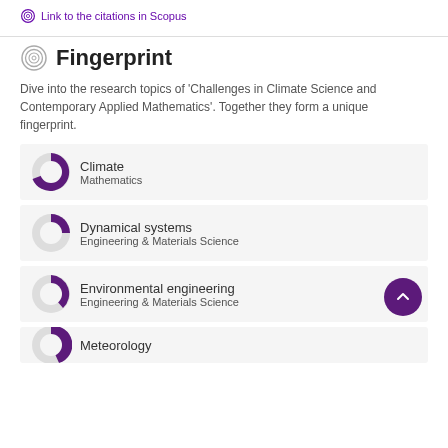Link to the citations in Scopus
Fingerprint
Dive into the research topics of 'Challenges in Climate Science and Contemporary Applied Mathematics'. Together they form a unique fingerprint.
Climate
Mathematics
Dynamical systems
Engineering & Materials Science
Environmental engineering
Engineering & Materials Science
Meteorology